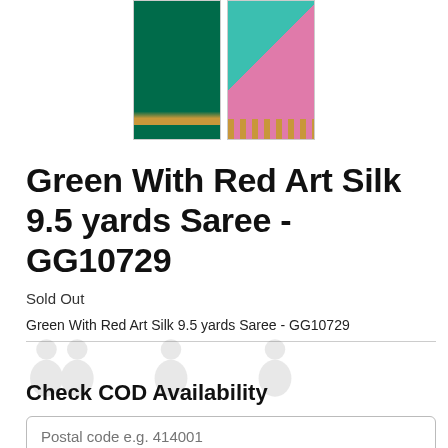[Figure (photo): Two product thumbnail images of sarees side by side: left is dark green silk saree with gold border, right is teal/pink art silk saree with gold border]
Green With Red Art Silk 9.5 yards Saree - GG10729
Sold Out
Green With Red Art Silk 9.5 yards Saree - GG10729
[Figure (illustration): Faint watermark icons showing three silhouette figures]
Check COD Availability
Postal code e.g. 414001